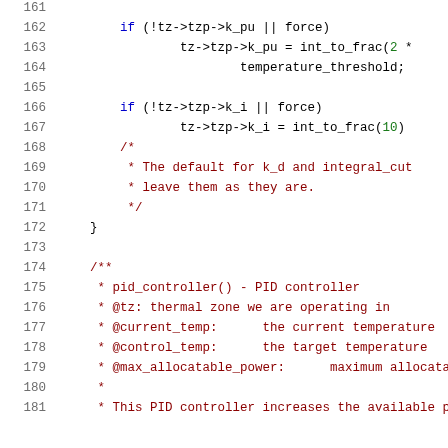[Figure (screenshot): Source code listing in C, lines 161-181, showing thermal zone PID controller initialization code with line numbers on the left. Code includes if-conditions for k_pu and k_i, a block comment about k_d and integral_cut defaults, a closing brace, and a doxygen comment block for pid_controller() function.]